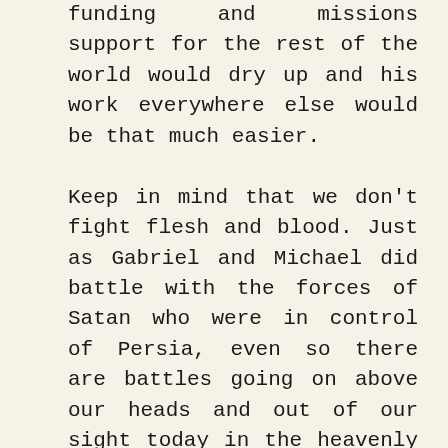funding and missions support for the rest of the world would dry up and his work everywhere else would be that much easier.

Keep in mind that we don't fight flesh and blood. Just as Gabriel and Michael did battle with the forces of Satan who were in control of Persia, even so there are battles going on above our heads and out of our sight today in the heavenly realms. Pray without ceasing for God's will to be done in your lives and in our country. Pray that He will open doors to get others to sign their own copy of the Declaration of Christian Independence from the World and move into the joys of the Lord. He has many promises for those who follow Him, and His promises are always Yea and